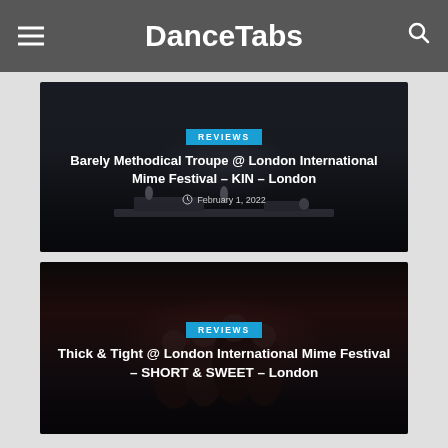DanceTabs
[Figure (photo): Dark stage performance photo with performers on a lit minimal stage set]
Barely Methodical Troupe @ London International Mime Festival – KIN – London
February 1, 2022
[Figure (photo): Dark atmospheric performance photo with multiple performers in close grouping]
Thick & Tight @ London International Mime Festival – SHORT & SWEET – London